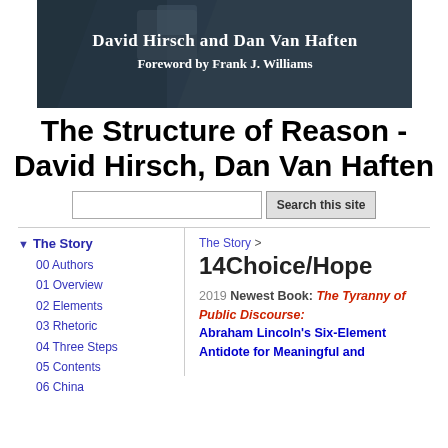[Figure (photo): Dark banner image showing book cover with text: 'David Hirsch and Dan Van Haften' and 'Foreword by Frank J. Williams']
The Structure of Reason - David Hirsch, Dan Van Haften
Search this site (search input and button)
The Story
00 Authors
01 Overview
02 Elements
03 Rhetoric
04 Three Steps
05 Contents
06 China
The Story > 14Choice/Hope
2019 Newest Book: The Tyranny of Public Discourse:
Abraham Lincoln's Six-Element Antidote for Meaningful and